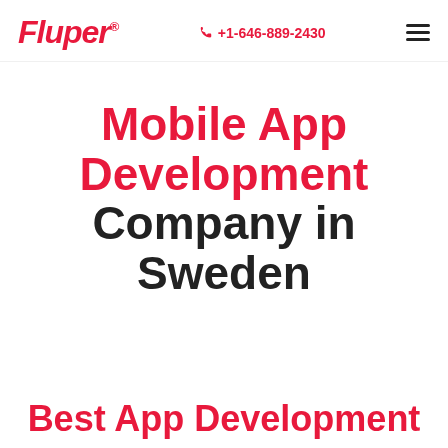Fluper® +1-646-889-2430
Mobile App Development Company in Sweden
Best App Development